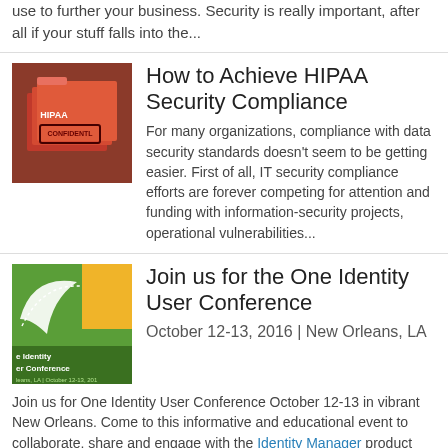use to further your business. Security is really important, after all if your stuff falls into the...
[Figure (photo): Photo of HIPAA confidential folders/files with red stamp]
How to Achieve HIPAA Security Compliance
For many organizations, compliance with data security standards doesn't seem to be getting easier. First of all, IT security compliance efforts are forever competing for attention and funding with information-security projects, operational vulnerabilities...
[Figure (logo): One Identity User Conference logo with green and yellow design]
Join us for the One Identity User Conference
October 12-13, 2016  |  New Orleans, LA
Join us for One Identity User Conference October 12-13 in vibrant New Orleans. Come to this informative and educational event to collaborate, share and engage with the Identity Manager product management experts,...